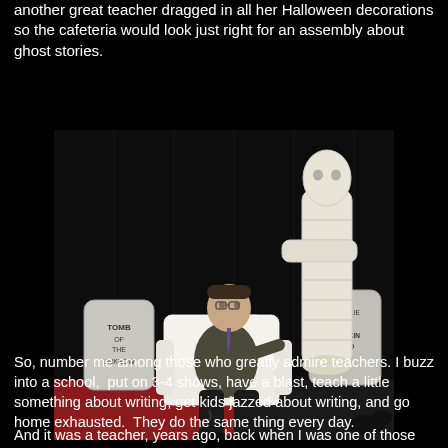another great teacher dragged in all her Halloween decorations so the cafeteria would look just right for an assembly about ghost stories.
[Figure (photo): A man sitting in a white armchair in front of Halloween decorations including fake tombstones reading 'TOMB OF THE UNKNOWN' and 'HERE LIE THE PUMPKIN HEAD', with a full-size mummy figure standing to the right, against a black curtain backdrop on a red floor.]
So, number me among those who greatly admire teachers. I buzz into a school,  put on 3-4 shows, have a blast, teach a little something about writing, get kids jazzed about writing, and go home exhausted.  They do the same thing every day.
And it was a teacher, years ago, back when I was one of those smart-mouthed 8th graders, who scribbled a red-ink